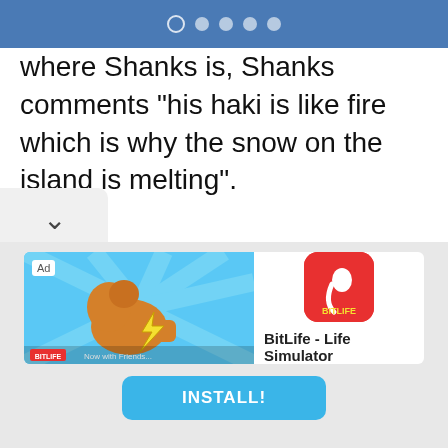navigation dots
where Shanks is, Shanks comments "his haki is like fire which is why the snow on the island is melting".
[Figure (screenshot): BitLife - Life Simulator app advertisement with install button]